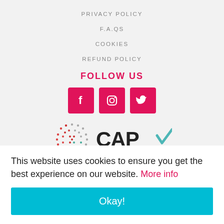PRIVACY POLICY
F.A.Qs
COOKIES
REFUND POLICY
FOLLOW US
[Figure (other): Social media icons: Facebook, Instagram, Twitter on pink/magenta square backgrounds]
[Figure (logo): CAP ACCREDITED logo with dot-pattern circle and teal checkmark]
This website uses cookies to ensure you get the best experience on our website. More info
Okay!